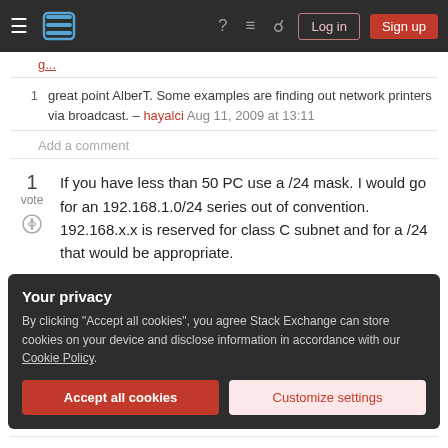Stack Exchange navigation bar with hamburger menu, logo, help, chat, search icons, Log in and Sign up buttons
1  great point AlberT. Some examples are finding out network printers via broadcast. – hayalci Aug 11, 2009 at 13:11
Add a comment
If you have less than 50 PC use a /24 mask. I would go for an 192.168.1.0/24 series out of convention. 192.168.x.x is reserved for class C subnet and for a /24 that would be appropriate.
Your privacy
By clicking "Accept all cookies", you agree Stack Exchange can store cookies on your device and disclose information in accordance with our Cookie Policy.
Accept all cookies  Customize settings